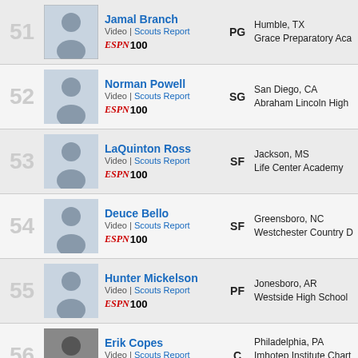| Rank | Photo | Player | Position | Location/School |
| --- | --- | --- | --- | --- |
| 51 |  | Jamal Branch
Video | Scouts Report
ESPN 100 | PG | Humble, TX
Grace Preparatory Aca |
| 52 |  | Norman Powell
Video | Scouts Report
ESPN 100 | SG | San Diego, CA
Abraham Lincoln High |
| 53 |  | LaQuinton Ross
Video | Scouts Report
ESPN 100 | SF | Jackson, MS
Life Center Academy |
| 54 |  | Deuce Bello
Video | Scouts Report
ESPN 100 | SF | Greensboro, NC
Westchester Country D |
| 55 |  | Hunter Mickelson
Video | Scouts Report
ESPN 100 | PF | Jonesboro, AR
Westside High School |
| 56 |  | Erik Copes
Video | Scouts Report
ESPN 100 | C | Philadelphia, PA
Imhotep Institute Chart School |
| 57 |  | Zach Price
Video | Scouts Report
ESPN 100 | C | Louisville, KY
Jeffersontown High Sc |